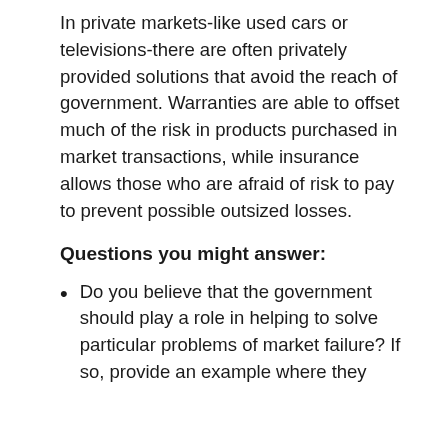In private markets-like used cars or televisions-there are often privately provided solutions that avoid the reach of government. Warranties are able to offset much of the risk in products purchased in market transactions, while insurance allows those who are afraid of risk to pay to prevent possible outsized losses.
Questions you might answer:
Do you believe that the government should play a role in helping to solve particular problems of market failure? If so, provide an example where they